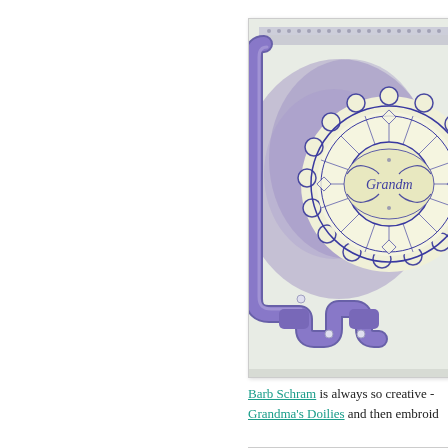[Figure (photo): A handmade greeting card with purple/lavender decorative elements. Features a scalloped doily-style circular medallion in cream/ivory with an ornate lace pattern, layered on a purple embossed background with a decorative purple frame/bracket shape. The center circular medallion has the word 'Grandm' (partially visible) in cursive script with decorative flourishes. Small rhinestone embellishments are visible.]
Barb Schram is always so creative - Grandma's Doilies and then embroid...